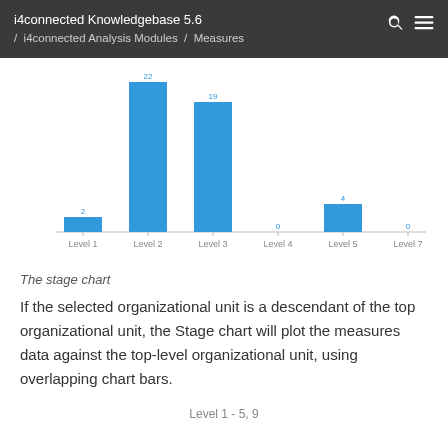i4connected Knowledgebase 5.6 / i4connected Analysis Modules / Measures
[Figure (bar-chart): ]
The stage chart
If the selected organizational unit is a descendant of the top organizational unit, the Stage chart will plot the measures data against the top-level organizational unit, using overlapping chart bars.
Level 1 - 5, 9